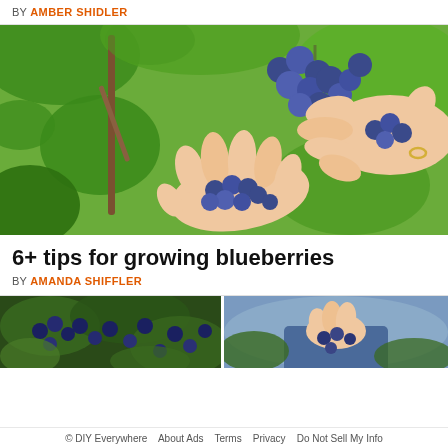BY AMBER SHIDLER
[Figure (photo): Hands picking ripe blueberries from a blueberry bush with green leaves background]
6+ tips for growing blueberries
BY AMANDA SHIFFLER
[Figure (photo): Two bottom thumbnail images: left shows blueberries on bush, right shows person picking blueberries]
© DIY Everywhere   About Ads   Terms   Privacy   Do Not Sell My Info